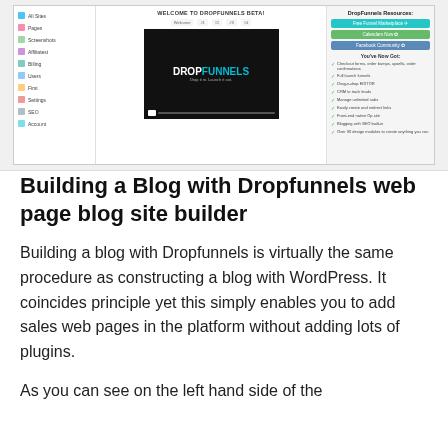[Figure (screenshot): Screenshot of DropFunnels Beta dashboard showing a sidebar navigation on the left, a welcome video in the center with the DropFunnels logo, and a resources panel on the right with buttons and a checklist.]
Building a Blog with Dropfunnels web page blog site builder
Building a blog with Dropfunnels is virtually the same procedure as constructing a blog with WordPress. It coincides principle yet this simply enables you to add sales web pages in the platform without adding lots of plugins.
As you can see on the left hand side of the